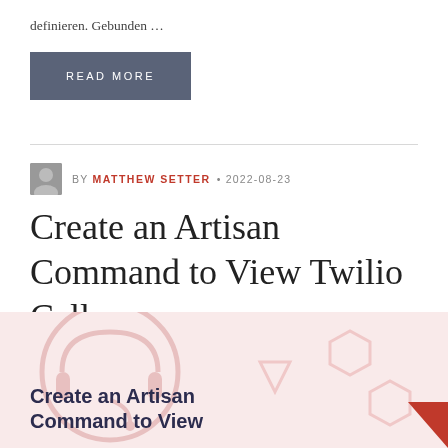definieren. Gebunden …
READ MORE
BY MATTHEW SETTER • 2022-08-23
Create an Artisan Command to View Twilio Calls
[Figure (illustration): Article thumbnail card with light pink/red background, decorative icons (headset, hexagons, shapes), a red triangle in the bottom-right corner, and bold dark text reading 'Create an Artisan Command to View']